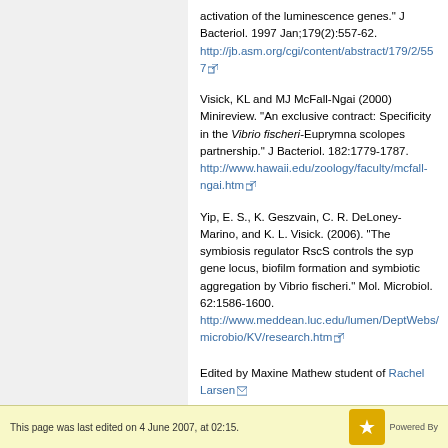activation of the luminescence genes." J Bacteriol. 1997 Jan;179(2):557-62. http://jb.asm.org/cgi/content/abstract/179/2/557
Visick, KL and MJ McFall-Ngai (2000) Minireview. "An exclusive contract: Specificity in the iVibrio fischeri-Euprymna scolopes partnership." J Bacteriol. 182:1779-1787. http://www.hawaii.edu/zoology/faculty/mcfall-ngai.htm
Yip, E. S., K. Geszvain, C. R. DeLoney-Marino, and K. L. Visick. (2006). "The symbiosis regulator RscS controls the syp gene locus, biofilm formation and symbiotic aggregation by Vibrio fischeri." Mol. Microbiol. 62:1586-1600. http://www.meddean.luc.edu/lumen/DeptWebs/microbio/KV/research.htm
Edited by Maxine Mathew student of Rachel Larsen
This page was last edited on 4 June 2007, at 02:15.